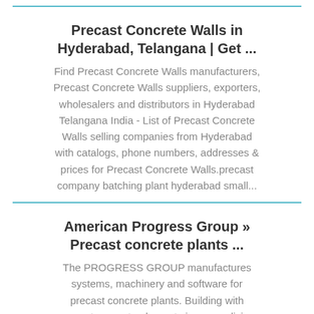Precast Concrete Walls in Hyderabad, Telangana | Get ...
Find Precast Concrete Walls manufacturers, Precast Concrete Walls suppliers, exporters, wholesalers and distributors in Hyderabad Telangana India - List of Precast Concrete Walls selling companies from Hyderabad with catalogs, phone numbers, addresses & prices for Precast Concrete Walls.precast company batching plant hyderabad small...
American Progress Group » Precast concrete plants ...
The PROGRESS GROUP manufactures systems, machinery and software for precast concrete plants. Building with precast concrete elements improves living conditions for people all over the world. Our technology creates attractive workplaces and environmentally-friendly, durable building systems for high-quality living an...